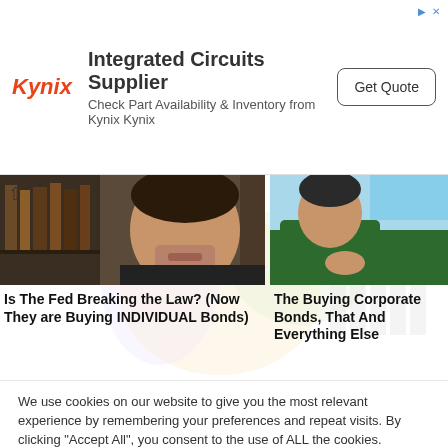[Figure (screenshot): Kynix ad banner: Integrated Circuits Supplier with Get Quote button]
[Figure (photo): Left video thumbnail: man speaking, bookshelf background]
Is The Fed Breaking the Law? (Now They are Buying INDIVIDUAL Bonds)
[Figure (photo): Right video thumbnail: person in car holding blue ball]
The Buying Corporate Bonds, That And Everything Else
We use cookies on our website to give you the most relevant experience by remembering your preferences and repeat visits. By clicking "Accept All", you consent to the use of ALL the cookies. However, you may visit "Cookie Settings" to provide a controlled consent.
Cookie Settings   Accept All